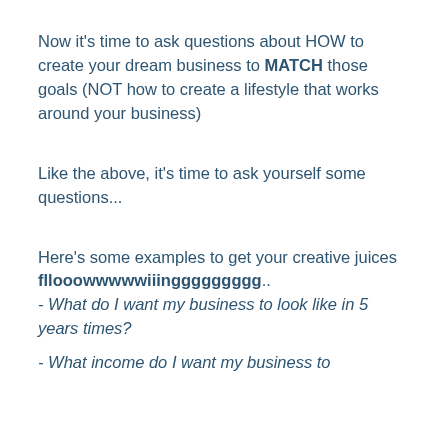Now it's time to ask questions about HOW to create your dream business to MATCH those goals (NOT how to create a lifestyle that works around your business)
Like the above, it's time to ask yourself some questions...
Here's some examples to get your creative juices fllooowwwwwiiinggggggggg.. - What do I want my business to look like in 5 years times?
- What income do I want my business to